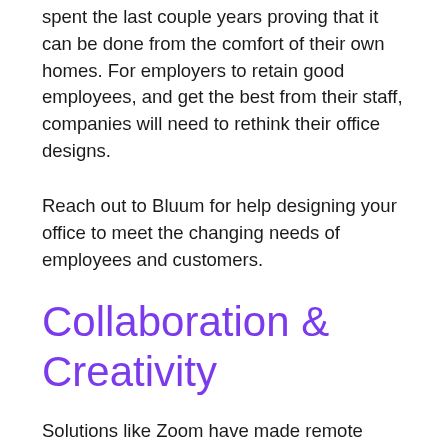spent the last couple years proving that it can be done from the comfort of their own homes. For employers to retain good employees, and get the best from their staff, companies will need to rethink their office designs.
Reach out to Bluum for help designing your office to meet the changing needs of employees and customers.
Collaboration & Creativity
Solutions like Zoom have made remote collaboration easier than ever, but we all know the